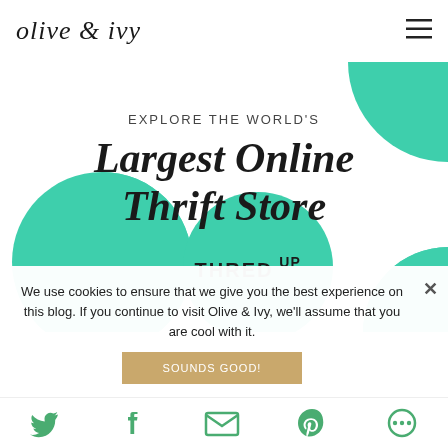olive & ivy
[Figure (infographic): ThredUP advertisement banner: 'EXPLORE THE WORLD'S Largest Online Thrift Store' with teal/green circle shapes on white background and THREDUP logo]
We use cookies to ensure that we give you the best experience on this blog. If you continue to visit Olive & Ivy, we'll assume that you are cool with it.
SOUNDS GOOD!